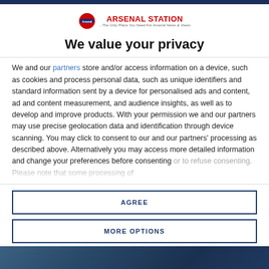[Figure (logo): Arsenal Station logo with London Underground roundel icon and text 'ARSENAL STATION' with tagline]
We value your privacy
We and our partners store and/or access information on a device, such as cookies and process personal data, such as unique identifiers and standard information sent by a device for personalised ads and content, ad and content measurement, and audience insights, as well as to develop and improve products. With your permission we and our partners may use precise geolocation data and identification through device scanning. You may click to consent to our and our partners' processing as described above. Alternatively you may access more detailed information and change your preferences before consenting
AGREE
MORE OPTIONS
[Figure (photo): Partial image visible at bottom of page, appears to be a scene with blue tones]